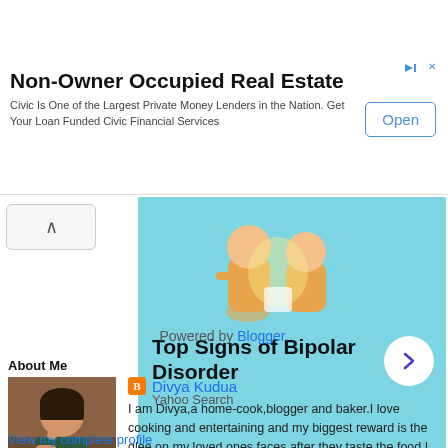[Figure (infographic): Advertisement banner for Civic Financial Services Non-Owner Occupied Real Estate with an Open button]
[Figure (infographic): Advertisement for Top Signs of Bipolar Disorder via Yahoo Search with a cartoon illustration on light blue background and a chevron button]
Powered by Blogger.
About Me
[Figure (photo): Profile photo of Divya Kudua, a woman eating at a table]
Divya Kudua
I am Divya,a home-cook,blogger and baker.I love cooking and entertaining and my biggest reward is the glee on my loved ones faces after they taste the food I cook!
View my complete profile